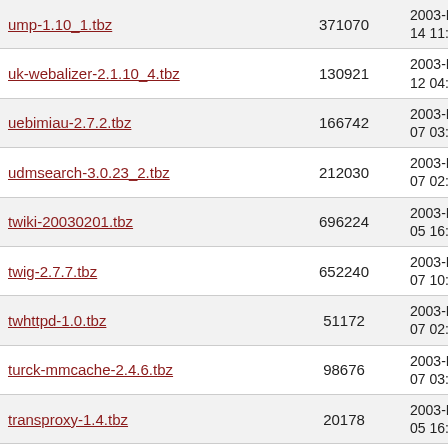| Filename | Size | Date |
| --- | --- | --- |
| ump-1.10_1.tbz | 371070 | 2003-Dec-14 11:54 |
| uk-webalizer-2.1.10_4.tbz | 130921 | 2003-Dec-12 04:28 |
| uebimiau-2.7.2.tbz | 166742 | 2003-Dec-07 03:37 |
| udmsearch-3.0.23_2.tbz | 212030 | 2003-Dec-07 02:15 |
| twiki-20030201.tbz | 696224 | 2003-Dec-05 16:33 |
| twig-2.7.7.tbz | 652240 | 2003-Dec-07 10:12 |
| twhttpd-1.0.tbz | 51172 | 2003-Dec-07 02:08 |
| turck-mmcache-2.4.6.tbz | 98676 | 2003-Dec-07 03:38 |
| transproxy-1.4.tbz | 20178 | 2003-Dec-05 16:09 |
| tinyproxy-1.5.3.tbz | 37996 | 2003-Dec-07 02:08 |
| tidy-lib-031101.tbz | 398748 | 2003-Dec-06 04:34 |